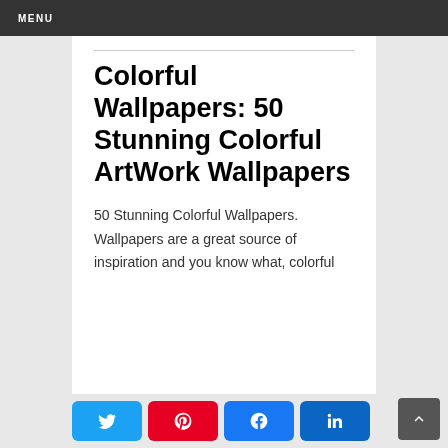MENU
Colorful Wallpapers: 50 Stunning Colorful ArtWork Wallpapers
50 Stunning Colorful Wallpapers. Wallpapers are a great source of inspiration and you know what, colorful